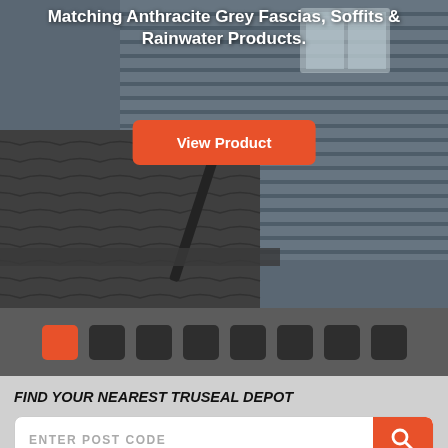[Figure (photo): Hero image of a house with anthracite grey cladding, fascias, soffits and rainwater products, showing roof tiles and guttering]
Matching Anthracite Grey Fascias, Soffits & Rainwater Products.
View Product
[Figure (infographic): Slider navigation dots — 8 squares, first one orange/red (active), rest dark grey]
FIND YOUR NEAREST TRUSEAL DEPOT
ENTER POST CODE
[Figure (other): Bottom section with chat bubble icon (blue circle with ellipsis) and yellow banner]